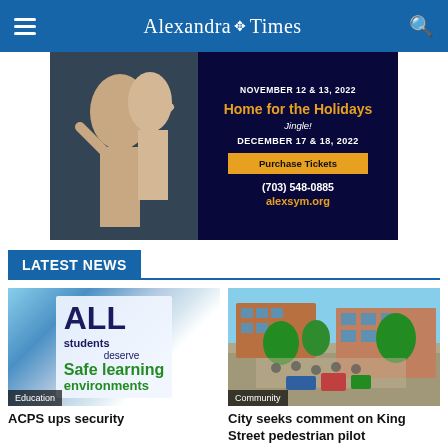Alexandria Times
[Figure (photo): Advertisement for Alexandria Symphony: Home for the Holidays, Jingle! November 12 & 13, 2022 and December 17 & 18, 2022. Purchase Tickets. (703) 548-0885. alexsym.org]
LATEST NEWS
[Figure (photo): Protest sign reading ALL students deserve Safe Learning environments. Category: Education.]
ACPS ups security
[Figure (photo): Street scene with crowd of people at a pedestrian area. Category: Community.]
City seeks comment on King Street pedestrian pilot